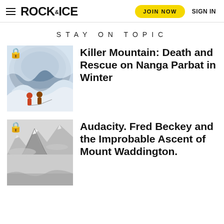ROCK AND ICE | JOIN NOW | SIGN IN
STAY ON TOPIC
[Figure (photo): Two climbers in a snowy ice cave on a steep mountain face with a lock icon overlay]
Killer Mountain: Death and Rescue on Nanga Parbat in Winter
[Figure (photo): Black and white photo of a jagged snowy mountain peak with a lock icon overlay]
Audacity. Fred Beckey and the Improbable Ascent of Mount Waddington.